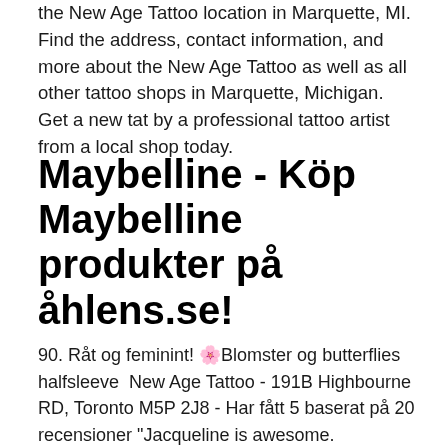the New Age Tattoo location in Marquette, MI. Find the address, contact information, and more about the New Age Tattoo as well as all other tattoo shops in Marquette, Michigan. Get a new tat by a professional tattoo artist from a local shop today.
Maybelline - Köp Maybelline produkter på åhlens.se!
90. Råt og feminint! 🌸Blomster og butterflies halfsleeve  New Age Tattoo - 191B Highbourne RD, Toronto M5P 2J8 - Har fått 5 baserat på 20 recensioner "Jacqueline is awesome.